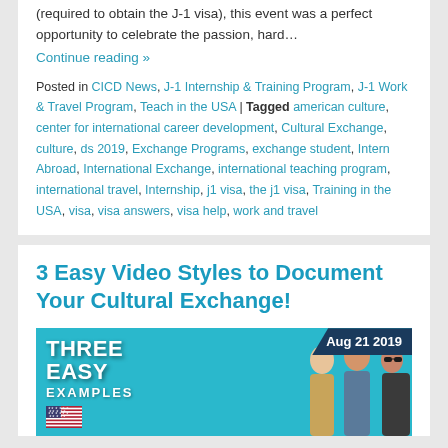(required to obtain the J-1 visa), this event was a perfect opportunity to celebrate the passion, hard…
Continue reading »
Posted in CICD News, J-1 Internship & Training Program, J-1 Work & Travel Program, Teach in the USA | Tagged american culture, center for international career development, Cultural Exchange, culture, ds 2019, Exchange Programs, exchange student, Intern Abroad, International Exchange, international teaching program, international travel, Internship, j1 visa, the j1 visa, Training in the USA, visa, visa answers, visa help, work and travel
3 Easy Video Styles to Document Your Cultural Exchange!
[Figure (photo): Thumbnail image for blog post '3 Easy Video Styles to Document Your Cultural Exchange!' showing text 'THREE EASY EXAMPLES' with a US flag, people posing, and a date badge 'Aug 21 2019' on a teal background.]